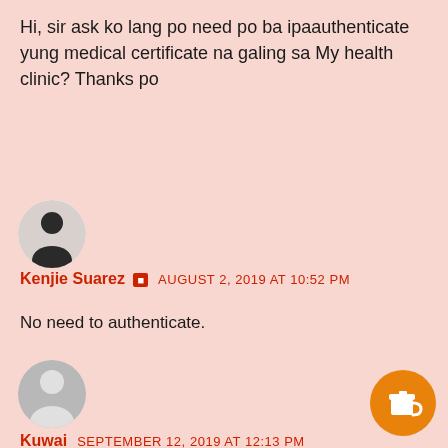Hi, sir ask ko lang po need po ba ipaauthenticate yung medical certificate na galing sa My health clinic? Thanks po
[Figure (photo): Round avatar photo of Kenjie Suarez showing a dark silhouette figure with grey background]
Kenjie Suarez [badge icon] AUGUST 2, 2019 AT 10:52 PM
No need to authenticate.
[Figure (photo): Round grey default avatar silhouette for Kuwai]
Kuwai  SEPTEMBER 12, 2019 AT 12:13 PM
[Figure (illustration): Orange circular button with a coffee cup icon]